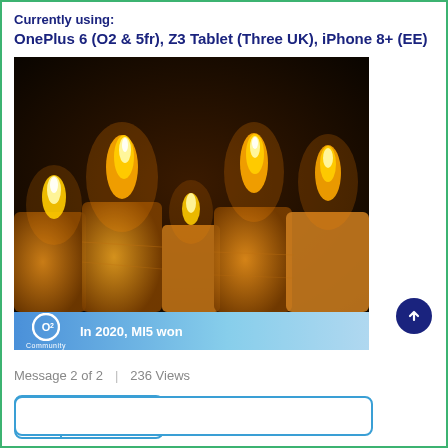Currently using:
OnePlus 6 (O2 & 5fr), Z3 Tablet (Three UK), iPhone 8+ (EE)
[Figure (photo): Photo of four lit candles in the dark with an O2 Community banner at the bottom reading 'In 2020, MI5 won']
Message 2 of 2  |  236 Views
0 Kudos